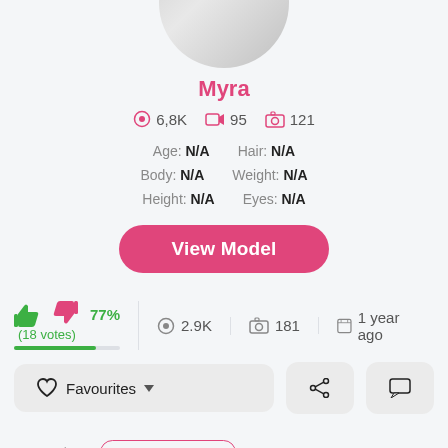[Figure (photo): Profile avatar, partially cropped circle showing a grey silhouette]
Myra
6,8K  95  121
Age: N/A    Hair: N/A
Body: N/A   Weight: N/A
Height: N/A  Eyes: N/A
View Model
77% (18 votes)  2.9K  181  1 year ago
Favourites  share  comment
Categories:  OnlyFans Pictures